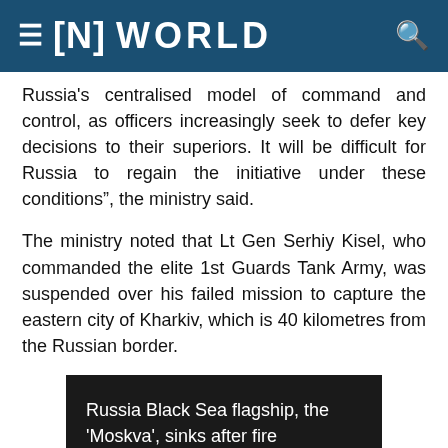≡ [N] WORLD
Russia's centralised model of command and control, as officers increasingly seek to defer key decisions to their superiors. It will be difficult for Russia to regain the initiative under these conditions", the ministry said.
The ministry noted that Lt Gen Serhiy Kisel, who commanded the elite 1st Guards Tank Army, was suspended over his failed mission to capture the eastern city of Kharkiv, which is 40 kilometres from the Russian border.
[Figure (screenshot): Black banner image with white text reading: Russia Black Sea flagship, the 'Moskva', sinks after fire]